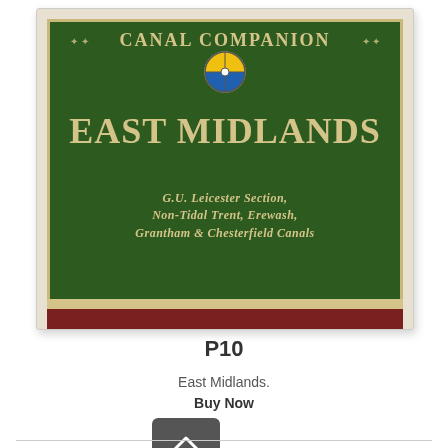[Figure (illustration): Book cover for Canal Companion East Midlands guide. Green background with cream/gold decorative text reading 'CANAL COMPANION' in an arch at top, a circular emblem with coloured quarters, 'EAST MIDLANDS' in large letters, and subtitle 'G.U. LEICESTER SECTION, NON-TIDAL TRENT, EREWASH, GRANTHAM & CHESTERFIELD CANALS'. Red stripe at bottom edge.]
P10
East Midlands.
Buy Now